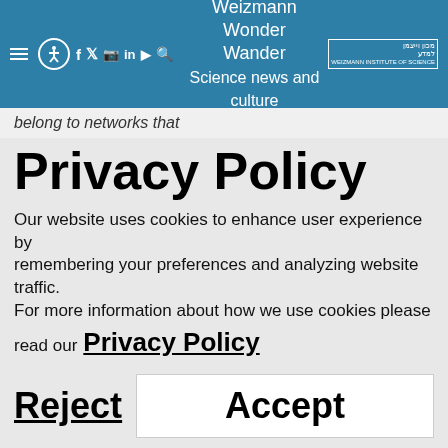Weizmann Wonder Wander — Science news and culture
belong to networks that
Privacy Policy
Our website uses cookies to enhance user experience by remembering your preferences and analyzing website traffic.
For more information about how we use cookies please read our Privacy Policy
Reject   Accept